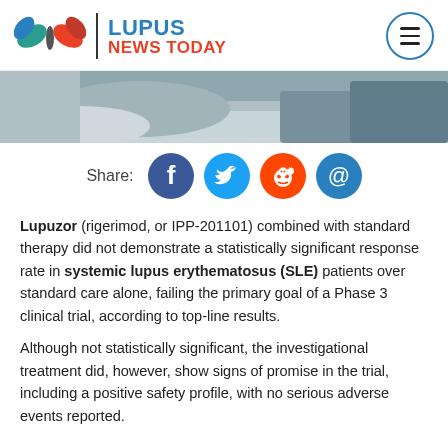Lupus News Today
[Figure (photo): Photo of a person resting or lying on a couch/bed, partially visible, wearing grey clothing]
Share:
Lupuzor (rigerimod, or IPP-201101) combined with standard therapy did not demonstrate a statistically significant response rate in systemic lupus erythematosus (SLE) patients over standard care alone, failing the primary goal of a Phase 3 clinical trial, according to top-line results.
Although not statistically significant, the investigational treatment did, however, show signs of promise in the trial, including a positive safety profile, with no serious adverse events reported.